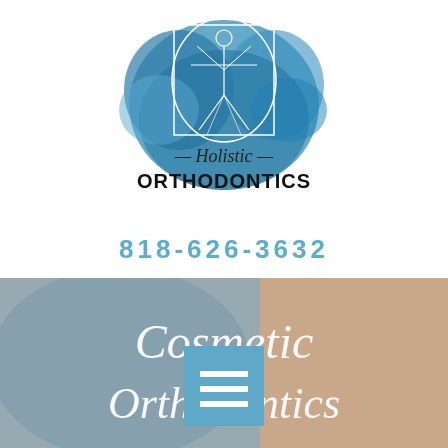[Figure (logo): Holistic Orthodontics logo: Vitruvian Man figure on a blue watercolor background with a square and circle, below which reads '— Holistic —' in cursive and 'ORTHODONTICS' in block letters]
818-626-3632
[Figure (photo): Bottom section showing a smiling woman's face partially cropped, overlaid with a steel-blue watercolor wash on the left. Overlaid cursive white text reads 'Cosmetic' on one line and 'Orthodontics' below. A blue square menu icon with three horizontal white lines is centered over the text.]